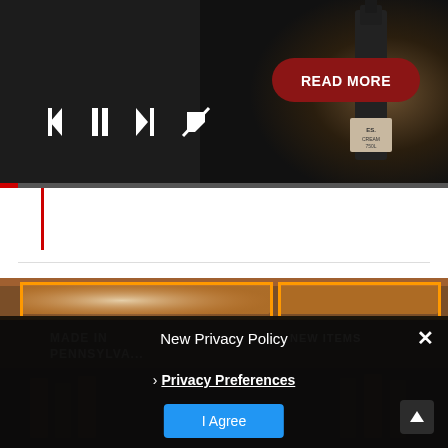[Figure (screenshot): Video player showing wine bottle on dark background with media controls (previous, pause, next, mute) and a red READ MORE button. Red progress bar at bottom.]
[Figure (photo): Dark background image showing wooden shelving with text MADE IN PENNSYLVANIA and NEW ITEMS overlaid.]
New Privacy Policy
› Privacy Preferences
I Agree